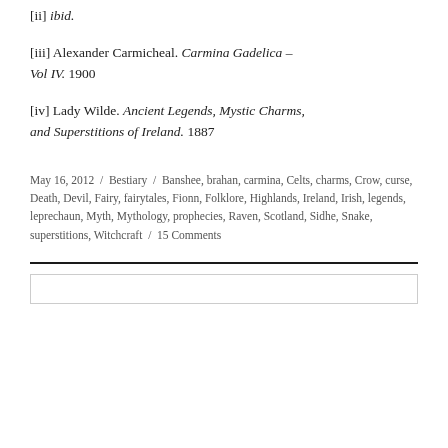[ii] ibid.
[iii] Alexander Carmicheal. Carmina Gadelica – Vol IV. 1900
[iv] Lady Wilde. Ancient Legends, Mystic Charms, and Superstitions of Ireland. 1887
May 16, 2012 / Bestiary / Banshee, brahan, carmina, Celts, charms, Crow, curse, Death, Devil, Fairy, fairytales, Fionn, Folklore, Highlands, Ireland, Irish, legends, leprechaun, Myth, Mythology, prophecies, Raven, Scotland, Sidhe, Snake, superstitions, Witchcraft / 15 Comments